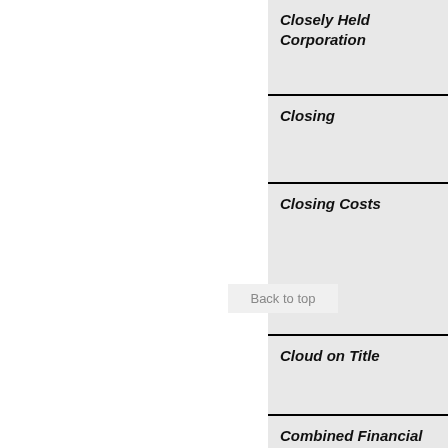| Closely Held Corporation |
| Closing |
| Closing Costs |
| Cloud on Title |
| Combined Financial Statement |